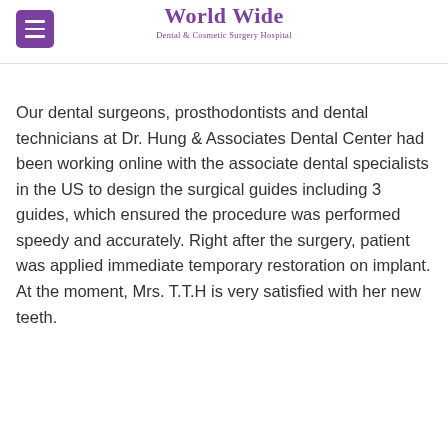World Wide Dental & Cosmetic Surgery Hospital
Our dental surgeons, prosthodontists and dental technicians at Dr. Hung & Associates Dental Center had been working online with the associate dental specialists in the US to design the surgical guides including 3 guides, which ensured the procedure was performed speedy and accurately. Right after the surgery, patient was applied immediate temporary restoration on implant. At the moment, Mrs. T.T.H is very satisfied with her new teeth.